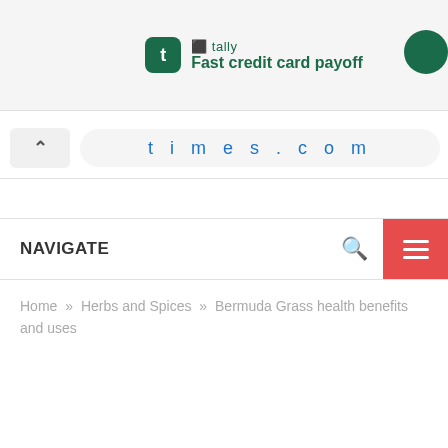[Figure (screenshot): Tally app advertisement banner showing logo and 'Fast credit card payoff' tagline on light grey background]
[Figure (screenshot): Browser address bar showing times.com URL with back button chevron on left]
NAVIGATE
Home » Herbs and Spices » Bermuda Grass health benefits and uses